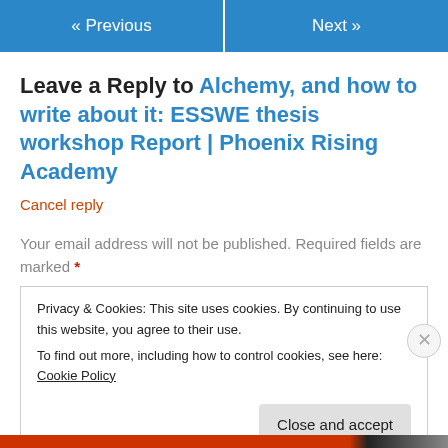« Previous    Next »
Leave a Reply to Alchemy, and how to write about it: ESSWE thesis workshop Report | Phoenix Rising Academy
Cancel reply
Your email address will not be published. Required fields are marked *
Privacy & Cookies: This site uses cookies. By continuing to use this website, you agree to their use.
To find out more, including how to control cookies, see here: Cookie Policy
Close and accept